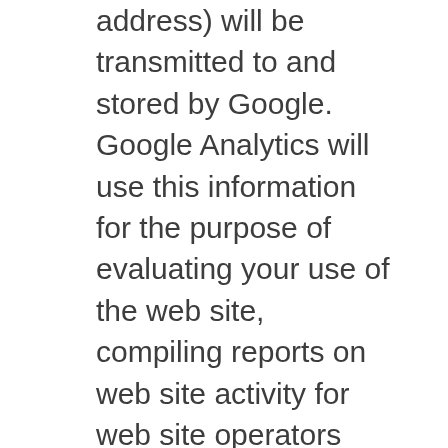address) will be transmitted to and stored by Google. Google Analytics will use this information for the purpose of evaluating your use of the web site, compiling reports on web site activity for web site operators and providing other services relating to web site activity and Internet usage. Google may also transfer this information to third parties where required to do so by law, or where such third parties process the information on Google's behalf. Google will not associate your IP address with any other data held by Google. By using this web site, you consent to the processing of data about you by Google in the manner and for the purposes set out above. You may also refuse the use of cookies by selecting the appropriate settings on your web browser.